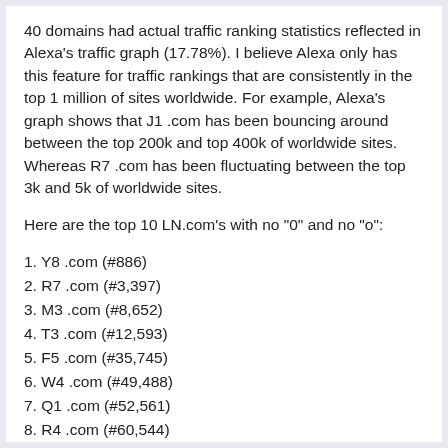40 domains had actual traffic ranking statistics reflected in Alexa's traffic graph (17.78%).  I believe Alexa only has this feature for traffic rankings that are consistently in the top 1 million of sites worldwide.  For example, Alexa's graph shows that J1 .com has been bouncing around between the top 200k and top 400k of worldwide sites.  Whereas R7 .com has been fluctuating between the top 3k and 5k of worldwide sites.
Here are the top 10 LN.com's with no "0" and no "o":
1. Y8 .com (#886)
2. R7 .com (#3,397)
3. M3 .com (#8,652)
4. T3 .com (#12,593)
5. F5 .com (#35,745)
6. W4 .com (#49,488)
7. Q1 .com (#52,561)
8. R4 .com (#60,544)
9. C2 .com (#63,072)
10. Z5 .com (#101,513)